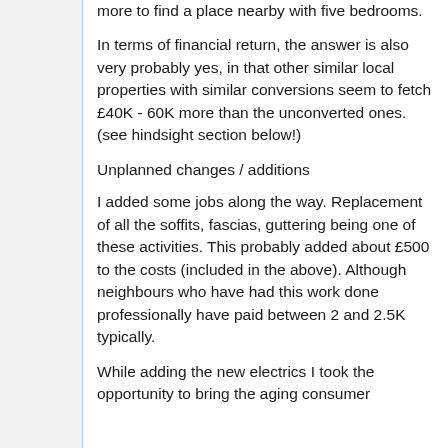more to find a place nearby with five bedrooms.
In terms of financial return, the answer is also very probably yes, in that other similar local properties with similar conversions seem to fetch £40K - 60K more than the unconverted ones. (see hindsight section below!)
Unplanned changes / additions
I added some jobs along the way. Replacement of all the soffits, fascias, guttering being one of these activities. This probably added about £500 to the costs (included in the above). Although neighbours who have had this work done professionally have paid between 2 and 2.5K typically.
While adding the new electrics I took the opportunity to bring the aging consumer